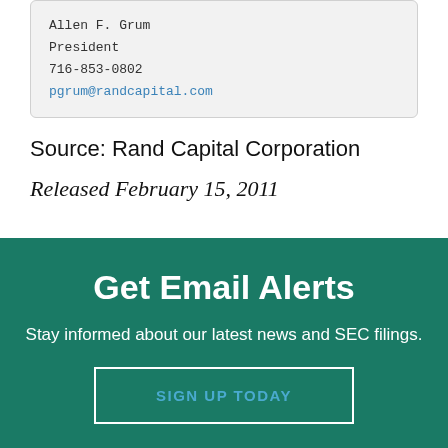Allen F. Grum
President
716-853-0802
pgrum@randcapital.com
Source: Rand Capital Corporation
Released February 15, 2011
Get Email Alerts
Stay informed about our latest news and SEC filings.
SIGN UP TODAY